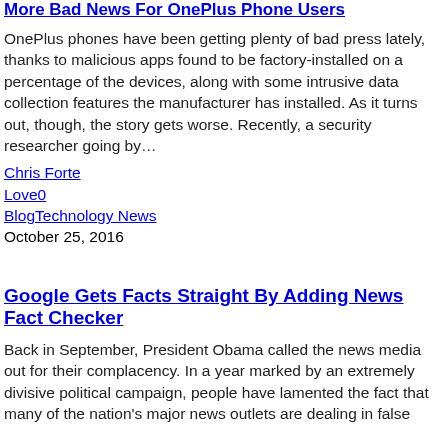More Bad News For OnePlus Phone Users
OnePlus phones have been getting plenty of bad press lately, thanks to malicious apps found to be factory-installed on a percentage of the devices, along with some intrusive data collection features the manufacturer has installed. As it turns out, though, the story gets worse. Recently, a security researcher going by…
Chris Forte
Love0
BlogTechnology News
October 25, 2016
Google Gets Facts Straight By Adding News Fact Checker
Back in September, President Obama called the news media out for their complacency. In a year marked by an extremely divisive political campaign, people have lamented the fact that many of the nation's major news outlets are dealing in false